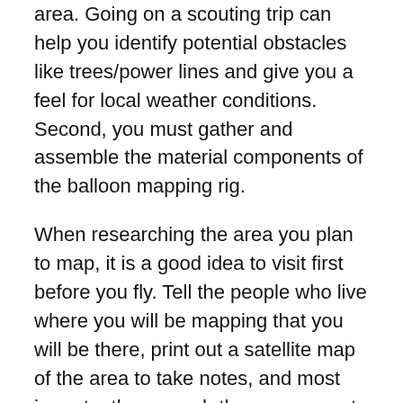area. Going on a scouting trip can help you identify potential obstacles like trees/power lines and give you a feel for local weather conditions. Second, you must gather and assemble the material components of the balloon mapping rig.
When researching the area you plan to map, it is a good idea to visit first before you fly. Tell the people who live where you will be mapping that you will be there, print out a satellite map of the area to take notes, and most importantly research the government rules that apply. In the US, tethered balloon flight is regulated by the Federal Aviation Administration (FAA) and they have rules governing the size of the balloon, the amount of weight it can carry, and how high the balloon can fly without explicit government permission.
Local weather conditions are very important since